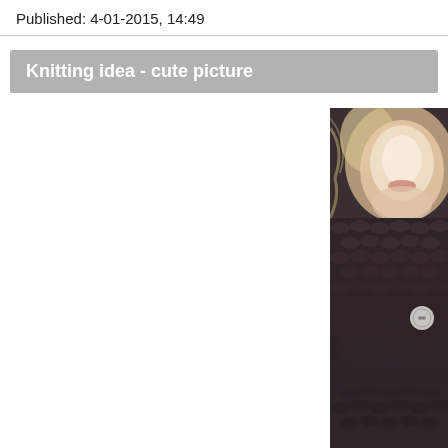Published: 4-01-2015, 14:49
Knitting idea - cute picture
[Figure (photo): Close-up photo of a person wearing a chunky dark brown/charcoal knitted cowl/scarf with a button detail. The person's face is partially visible at the top, with the lower face and neck area shown. The knitwear appears to be thick, textured crochet or chunky knit fabric in a dark color with a single decorative button on the right side.]